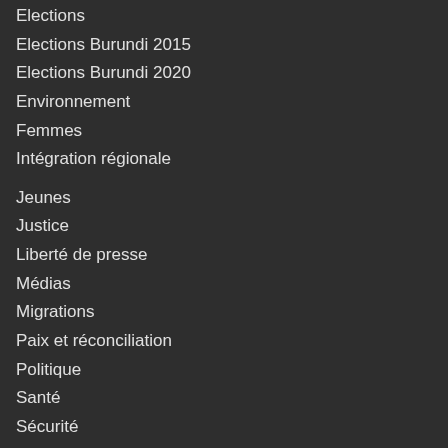Elections
Elections Burundi 2015
Elections Burundi 2020
Environnement
Femmes
Intégration régionale
Jeunes
Justice
Liberté de presse
Médias
Migrations
Paix et réconciliation
Politique
Santé
Sécurité
Social
Sport
VIH-Sida